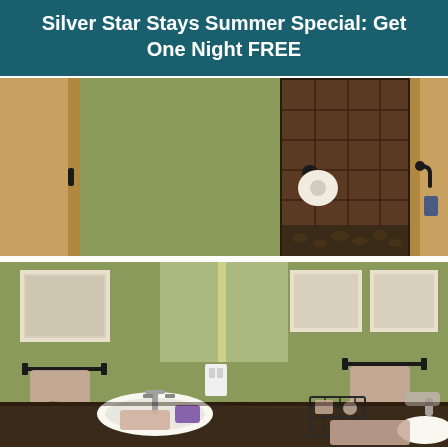Silver Star Stays Summer Special: Get One Night FREE
[Figure (photo): Interior bathroom photo showing green walls, a toilet paper holder with roll, brown tiled walk-in shower, wooden door frames, and a door handle visible on the right side.]
[Figure (photo): Bathroom vanity area with green walls, framed botanical artwork, double sinks with granite-style countertop, towel bars with pink towels, faucets, wire basket with toiletries, and decorative items.]